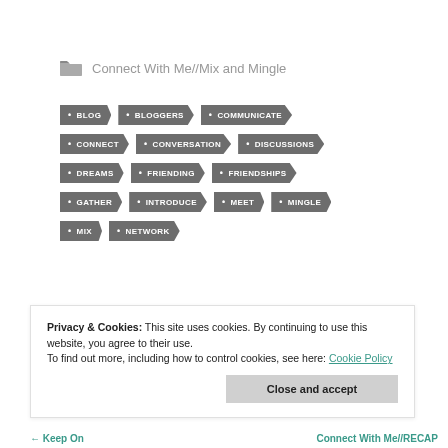Connect With Me//Mix and Mingle
BLOG
BLOGGERS
COMMUNICATE
CONNECT
CONVERSATION
DISCUSSIONS
DREAMS
FRIENDING
FRIENDSHIPS
GATHER
INTRODUCE
MEET
MINGLE
MIX
NETWORK
Privacy & Cookies: This site uses cookies. By continuing to use this website, you agree to their use. To find out more, including how to control cookies, see here: Cookie Policy
Close and accept
← Keep On   Connect With Me//RECAP